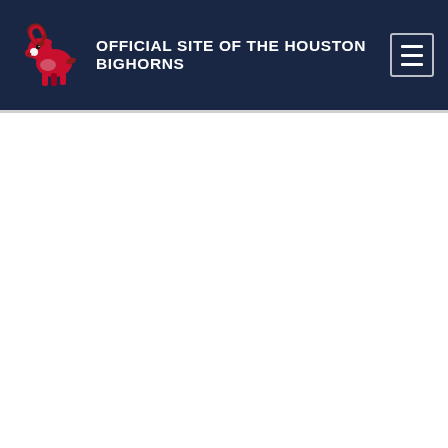OFFICIAL SITE OF THE HOUSTON BIGHORNS
[Figure (logo): Houston Bighorns mascot logo — a red bighorn sheep/ram in an aggressive pose with red and white coloring on a dark navy background header]